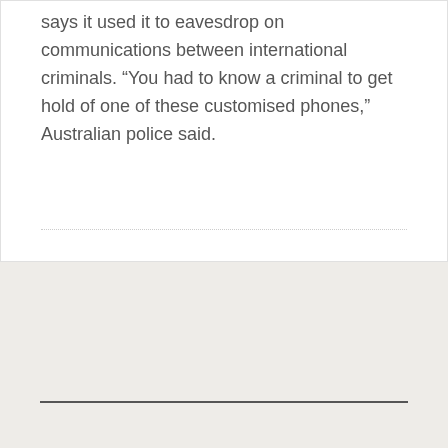says it used it to eavesdrop on communications between international criminals. “You had to know a criminal to get hold of one of these customised phones,” Australian police said.
Get these posts in email.